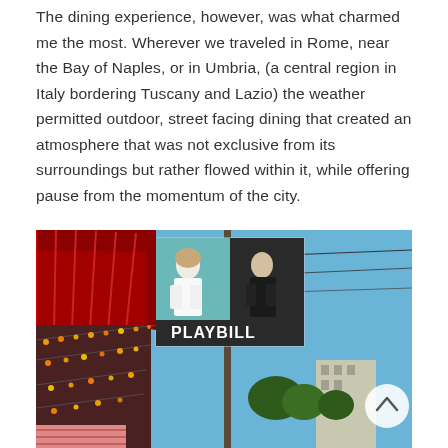The dining experience, however, was what charmed me the most. Wherever we traveled in Rome, near the Bay of Naples, or in Umbria, (a central region in Italy bordering Tuscany and Lazio) the weather permitted outdoor, street facing dining that created an atmosphere that was not exclusive from its surroundings but rather flowed within it, while offering pause from the momentum of the city.
[Figure (photo): Street scene photo showing a restaurant with red awnings and string lights on the left, and a pole with a 'PLAYBILL' banner featuring two figures (a woman in white and a man in dark clothing) against a blue sky with power lines and trees and a building in the background.]